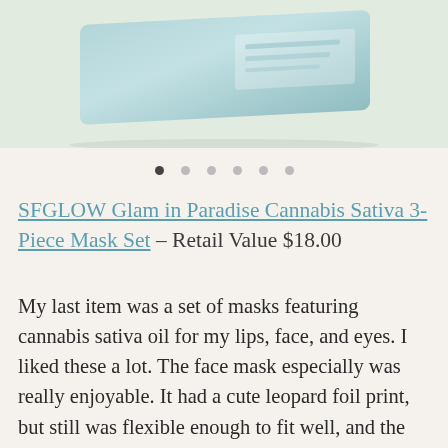[Figure (photo): Product photo of SFGLOW Glam in Paradise Cannabis Sativa 3-Piece Mask Set packaging on a beige/tan background, showing a light teal/blue rectangular package]
• • • • • •  (carousel navigation dots, first dot active)
SFGLOW Glam in Paradise Cannabis Sativa 3-Piece Mask Set - Retail Value $18.00
My last item was a set of masks featuring cannabis sativa oil for my lips, face, and eyes. I liked these a lot. The face mask especially was really enjoyable. It had a cute leopard foil print, but still was flexible enough to fit well, and the clear serum smelled really fresh. I noticed a marked hydration boost and less redness when